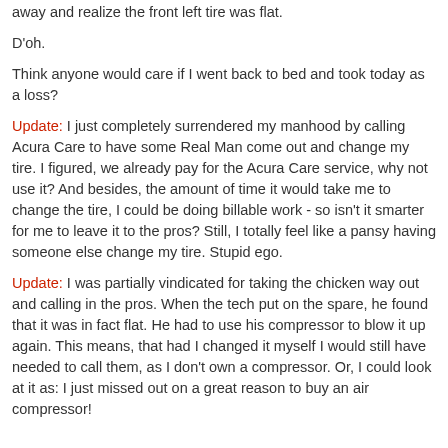away and realize the front left tire was flat.
D'oh.
Think anyone would care if I went back to bed and took today as a loss?
Update: I just completely surrendered my manhood by calling Acura Care to have some Real Man come out and change my tire. I figured, we already pay for the Acura Care service, why not use it? And besides, the amount of time it would take me to change the tire, I could be doing billable work - so isn't it smarter for me to leave it to the pros? Still, I totally feel like a pansy having someone else change my tire. Stupid ego.
Update: I was partially vindicated for taking the chicken way out and calling in the pros. When the tech put on the spare, he found that it was in fact flat. He had to use his compressor to blow it up again. This means, that had I changed it myself I would still have needed to call them, as I don't own a compressor. Or, I could look at it as: I just missed out on a great reason to buy an air compressor!